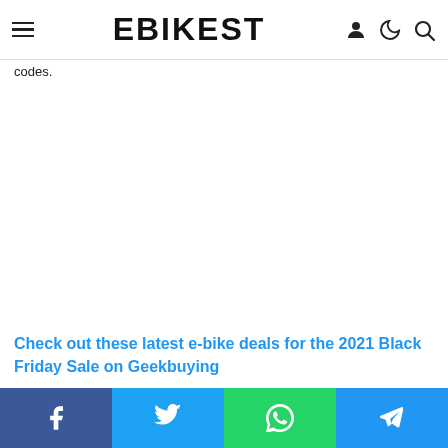EBIKEST
codes.
Check out these latest e-bike deals for the 2021 Black Friday Sale on Geekbuying
Facebook Twitter WhatsApp Telegram share buttons